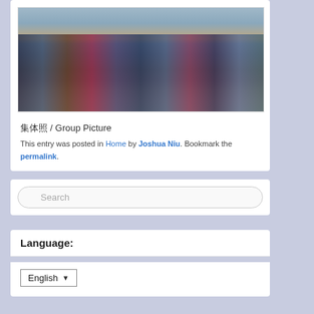[Figure (photo): Group photo of approximately 15-20 people standing together outdoors on a wooden deck or pier, with a structure visible in the background and a light sky.]
集体照 / Group Picture
This entry was posted in Home by Joshua Niu. Bookmark the permalink.
Search
Language:
English